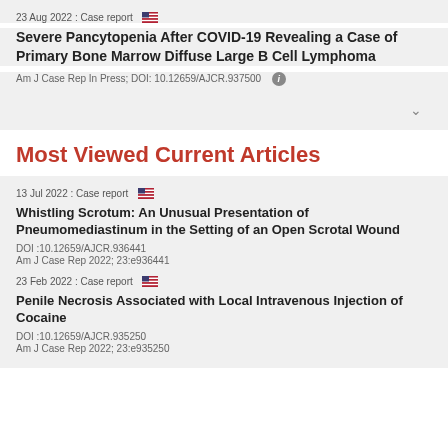23 Aug 2022 : Case report 🇺🇸
Severe Pancytopenia After COVID-19 Revealing a Case of Primary Bone Marrow Diffuse Large B Cell Lymphoma
Am J Case Rep In Press; DOI: 10.12659/AJCR.937500
Most Viewed Current Articles
13 Jul 2022 : Case report 🇺🇸
Whistling Scrotum: An Unusual Presentation of Pneumomediastinum in the Setting of an Open Scrotal Wound
DOI :10.12659/AJCR.936441
Am J Case Rep 2022; 23:e936441
23 Feb 2022 : Case report 🇺🇸
Penile Necrosis Associated with Local Intravenous Injection of Cocaine
DOI :10.12659/AJCR.935250
Am J Case Rep 2022; 23:e935250